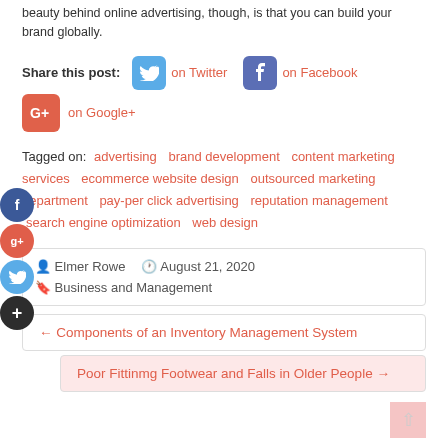beauty behind online advertising, though, is that you can build your brand globally.
Share this post: on Twitter  on Facebook  on Google+
Tagged on: advertising  brand development  content marketing services  ecommerce website design  outsourced marketing department  pay-per click advertising  reputation management  search engine optimization  web design
Elmer Rowe  August 21, 2020  Business and Management
← Components of an Inventory Management System
Poor Fittinmg Footwear and Falls in Older People →